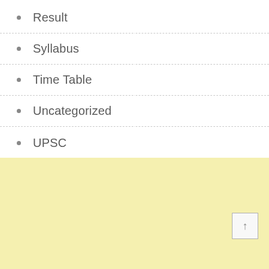Result
Syllabus
Time Table
Uncategorized
UPSC